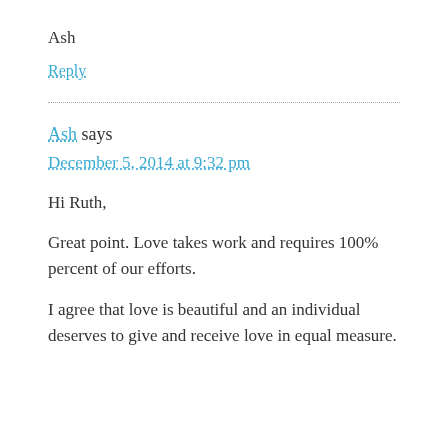Ash
Reply
Ash says
December 5, 2014 at 9:32 pm
Hi Ruth,
Great point. Love takes work and requires 100% percent of our efforts.
I agree that love is beautiful and an individual deserves to give and receive love in equal measure.